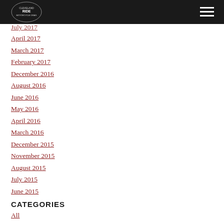July 2017
April 2017
March 2017
February 2017
December 2016
August 2016
June 2016
May 2016
April 2016
March 2016
December 2015
November 2015
August 2015
July 2015
June 2015
CATEGORIES
All